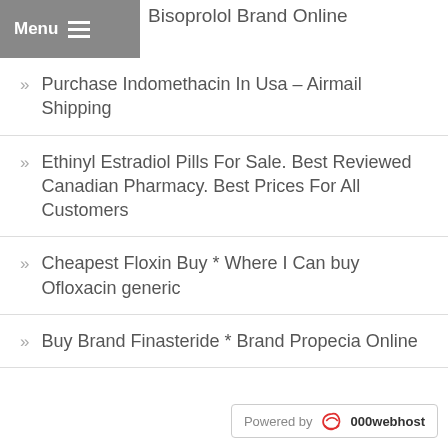Bisoprolol Brand Online
Purchase Indomethacin In Usa – Airmail Shipping
Ethinyl Estradiol Pills For Sale. Best Reviewed Canadian Pharmacy. Best Prices For All Customers
Cheapest Floxin Buy * Where I Can buy Ofloxacin generic
Buy Brand Finasteride * Brand Propecia Online
Powered by 000webhost